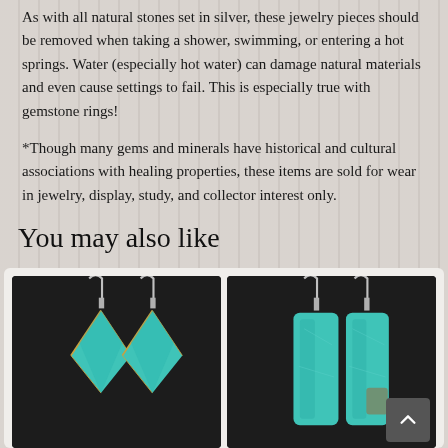As with all natural stones set in silver, these jewelry pieces should be removed when taking a shower, swimming, or entering a hot springs. Water (especially hot water) can damage natural materials and even cause settings to fail. This is especially true with gemstone rings!
*Though many gems and minerals have historical and cultural associations with healing properties, these items are sold for wear in jewelry, display, study, and collector interest only.
You may also like
[Figure (photo): Photo of a pair of turquoise earrings with kite/diamond-shaped stones in silver settings on dark background]
[Figure (photo): Photo of a pair of turquoise earrings with elongated rectangular stones in silver settings on dark background]